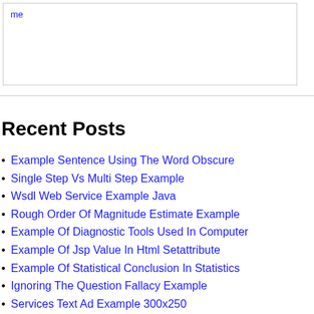me
Recent Posts
Example Sentence Using The Word Obscure
Single Step Vs Multi Step Example
Wsdl Web Service Example Java
Rough Order Of Magnitude Estimate Example
Example Of Diagnostic Tools Used In Computer
Example Of Jsp Value In Html Setattribute
Example Of Statistical Conclusion In Statistics
Ignoring The Question Fallacy Example
Services Text Ad Example 300x250